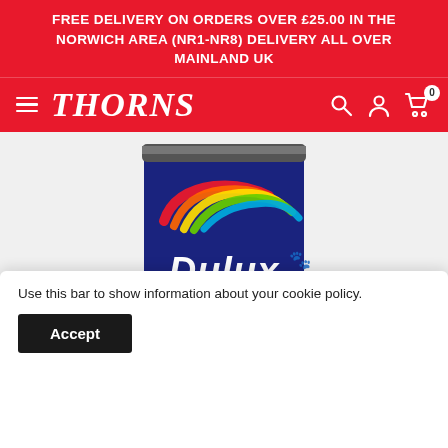FREE DELIVERY ON ORDERS OVER £25.00 IN THE NORWICH AREA (NR1-NR8) DELIVERY ALL OVER MAINLAND UK
THORNS
[Figure (photo): Dulux Quick Dry paint tin with rainbow swirl design on dark blue background, partially visible]
Use this bar to show information about your cookie policy.
Accept